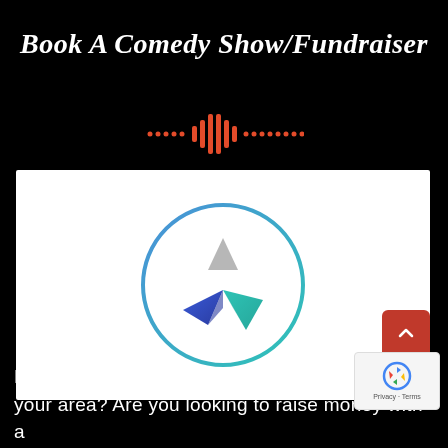Book A Comedy Show/Fundraiser
[Figure (illustration): Audio waveform icon in red/orange on black background]
[Figure (logo): Logo with a circle containing a paper airplane / compass rose symbol in blue and teal with a grey triangle above it]
Do you want to book a fun night of laughs your area? Are you looking to raise money with a